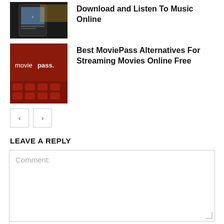[Figure (photo): Thumbnail of a phone showing music app, dark background]
Download and Listen To Music Online
[Figure (photo): MoviePass logo on red cinema seats background]
Best MoviePass Alternatives For Streaming Movies Online Free
< >
LEAVE A REPLY
Comment: